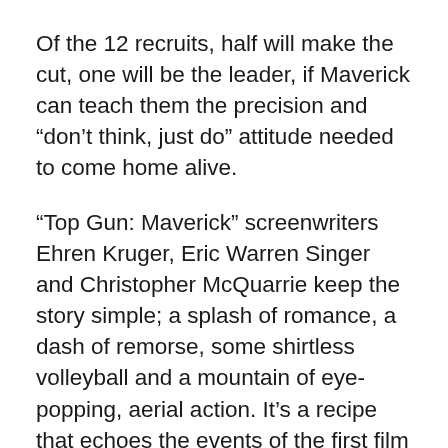Of the 12 recruits, half will make the cut, one will be the leader, if Maverick can teach them the precision and “don’t think, just do” attitude needed to come home alive.
“Top Gun: Maverick” screenwriters Ehren Kruger, Eric Warren Singer and Christopher McQuarrie keep the story simple; a splash of romance, a dash of remorse, some shirtless volleyball and a mountain of eye-popping, aerial action. It’s a recipe that echoes the events of the first film to the point of déjà vu. Still, as an exercise in nostalgia, complete with callbacks to the original, and an emotional appearance by Kilmer, “Maverick” works because it blends old and new in a crowd-pleasing way. Unlike other recent 1980s and 1990s reboots, it salutes the